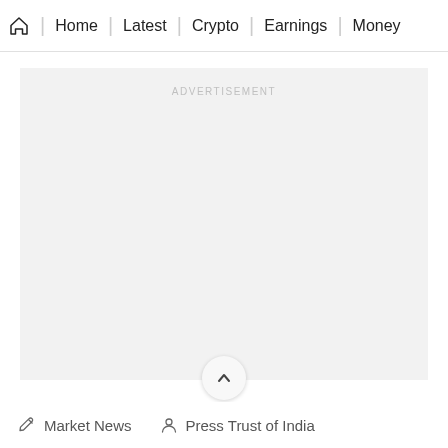Home | Latest | Crypto | Earnings | Money
[Figure (other): Advertisement placeholder area with light grey background and 'ADVERTISEMENT' label text centered at top]
Market News  Press Trust of India